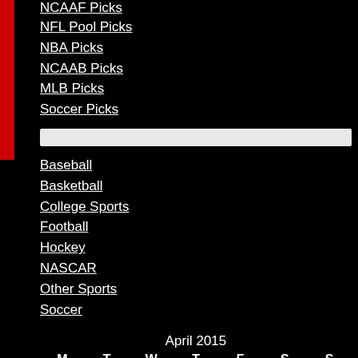NFL Pool Picks
NBA Picks
NCAAB Picks
MLB Picks
Soccer Picks
Baseball
Basketball
College Sports
Football
Hockey
NASCAR
Other Sports
Soccer
April 2015
M  T  W  T  F  S  S